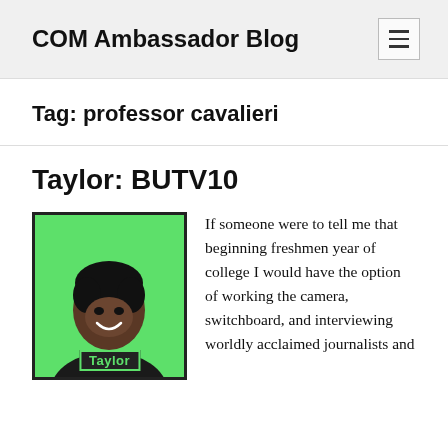COM Ambassador Blog
Tag: professor cavalieri
Taylor: BUTV10
[Figure (photo): Photo of Taylor on a green background with 'Taylor' label overlay]
If someone were to tell me that beginning freshmen year of college I would have the option of working the camera, switchboard, and interviewing worldly acclaimed journalists and